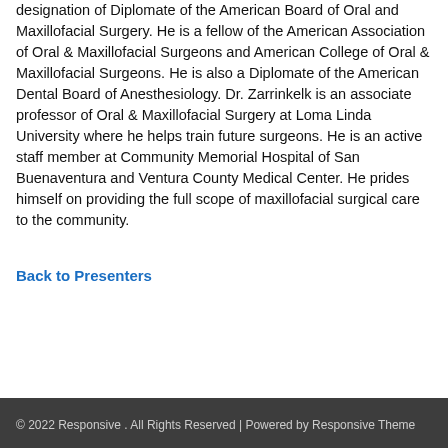designation of Diplomate of the American Board of Oral and Maxillofacial Surgery. He is a fellow of the American Association of Oral & Maxillofacial Surgeons and American College of Oral & Maxillofacial Surgeons. He is also a Diplomate of the American Dental Board of Anesthesiology. Dr. Zarrinkelk is an associate professor of Oral & Maxillofacial Surgery at Loma Linda University where he helps train future surgeons. He is an active staff member at Community Memorial Hospital of San Buenaventura and Ventura County Medical Center. He prides himself on providing the full scope of maxillofacial surgical care to the community.
Back to Presenters
© 2022 Responsive . All Rights Reserved | Powered by Responsive Theme